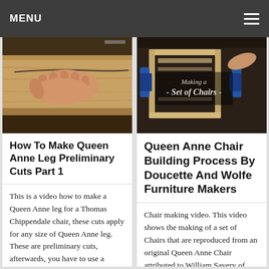MENU
[Figure (photo): Hands working on wooden board for Queen Anne leg preliminary cuts]
How To Make Queen Anne Leg Preliminary Cuts Part 1
This is a video how to make a Queen Anne leg for a Thomas Chippendale chair, these cuts apply for any size of Queen Anne leg. These are preliminary cuts, afterwards, you have to use a concave spokeshave and files to
[Figure (photo): Making a Set of Chairs - video thumbnail showing chair frame being built]
Queen Anne Chair Building Process By Doucette And Wolfe Furniture Makers
Chair making video. This video shows the making of a set of Chairs that are reproduced from an original Queen Anne Chair attributed to William Savery of Philadelphia